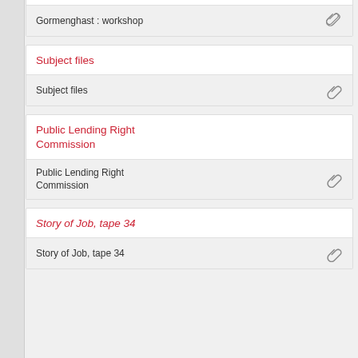Gormenghast : workshop
Subject files
Public Lending Right Commission
Story of Job, tape 34